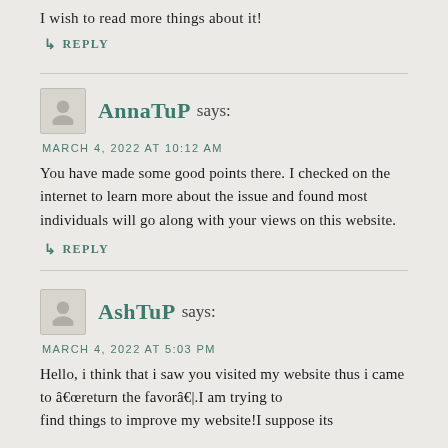I wish to read more things about it!
↳ REPLY
AnnaTuP says:
MARCH 4, 2022 AT 10:12 AM
You have made some good points there. I checked on the internet to learn more about the issue and found most individuals will go along with your views on this website.
↳ REPLY
AshTuP says:
MARCH 4, 2022 AT 5:03 PM
Hello, i think that i saw you visited my website thus i came to â€œreturn the favorâ€|.I am trying to find things to improve my website!I suppose its